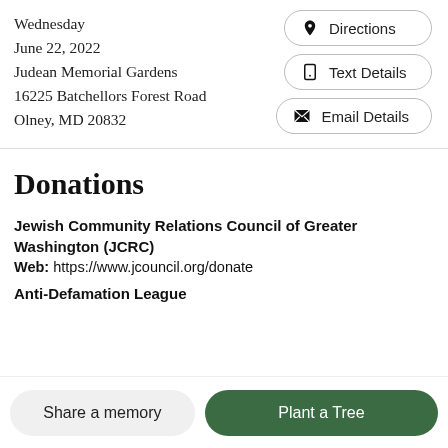Wednesday
June 22, 2022
Judean Memorial Gardens
16225 Batchellors Forest Road
Olney, MD 20832
Directions
Text Details
Email Details
Donations
Jewish Community Relations Council of Greater Washington (JCRC)
Web: https://www.jcouncil.org/donate
Anti-Defamation League
Share a memory
Plant a Tree